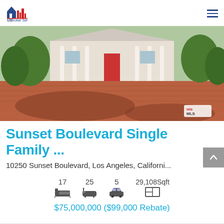[Figure (logo): US Broker Services logo with house icon in blue and red]
[Figure (photo): Large estate with brick/paver driveway, white columned mansion, trees, MLS watermark]
Sunset Boulevard Single Family ...
10250 Sunset Boulevard, Los Angeles, Californi...
17 beds, 25 baths, 5 garage, 29,108 Sqft
$75,000,000 ($99,000 Rebate)